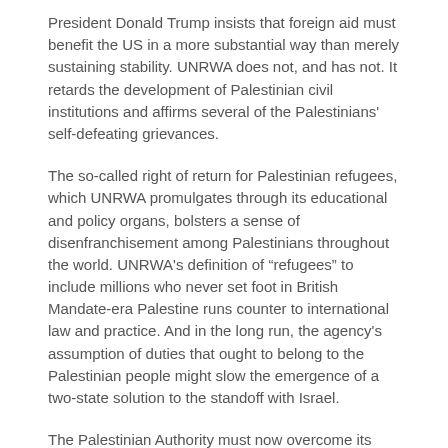President Donald Trump insists that foreign aid must benefit the US in a more substantial way than merely sustaining stability. UNRWA does not, and has not. It retards the development of Palestinian civil institutions and affirms several of the Palestinians' self-defeating grievances.
The so-called right of return for Palestinian refugees, which UNRWA promulgates through its educational and policy organs, bolsters a sense of disenfranchisement among Palestinians throughout the world. UNRWA's definition of “refugees” to include millions who never set foot in British Mandate-era Palestine runs counter to international law and practice. And in the long run, the agency's assumption of duties that ought to belong to the Palestinian people might slow the emergence of a two-state solution to the standoff with Israel.
The Palestinian Authority must now overcome its shock and rage and recognise reality. Reports that it is betting on Democrats' winning control of the US Congress in November indicate that its leaders are betting on the past. Even if the Democrats win, they will be unlikely to build enough support to sustain funding over the President's veto.